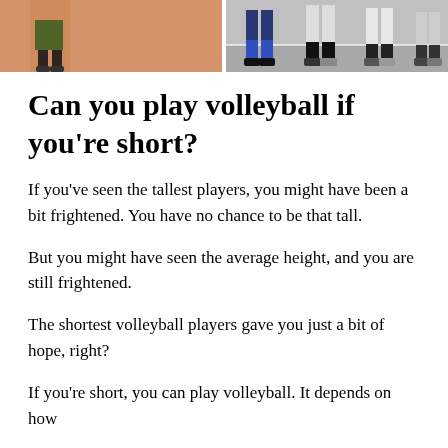[Figure (photo): Two split photos: left shows a volleyball player's lower body with green/black uniform near a peach/orange background; right shows volleyball players' legs and feet on a court floor.]
Can you play volleyball if you're short?
If you've seen the tallest players, you might have been a bit frightened. You have no chance to be that tall.
But you might have seen the average height, and you are still frightened.
The shortest volleyball players gave you just a bit of hope, right?
If you're short, you can play volleyball. It depends on how